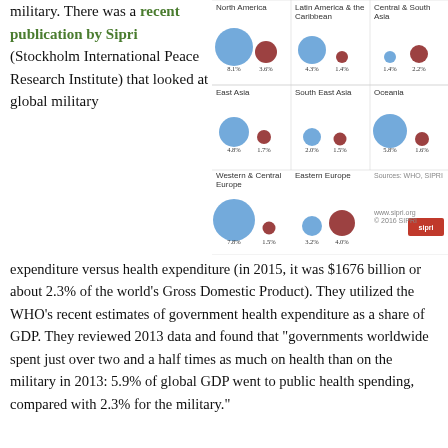military. There was a recent publication by Sipri (Stockholm International Peace Research Institute) that looked at global military expenditure versus health expenditure (in 2015, it was $1676 billion or about 2.3% of the world’s Gross Domestic Product). They utilized the WHO’s recent estimates of government health expenditure as a share of GDP. They reviewed 2013 data and found that “governments worldwide spent just over two and a half times as much on health than on the military in 2013: 5.9% of global GDP went to public health spending, compared with 2.3% for the military.”
[Figure (bubble-chart): Bubble chart comparing military vs health expenditure by region. Regions: North America (8.1% health, 3.6% military), Latin America & the Caribbean (4.3% health, 1.4% military), Central & South Asia (1.4% health, 2.2% military), East Asia (4.8% health, 1.7% military), South East Asia (2.0% health, 1.5% military), Oceania (5.8% health, 1.6% military), Western & Central Europe (7.8% health, 1.5% military), Eastern Europe (3.2% health, 4.0% military). Sources: WHO, SIPRI.]